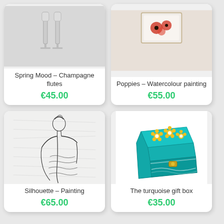Spring Mood – Champagne flutes
€45.00
Poppies – Watercolour painting
€55.00
[Figure (illustration): Pencil sketch of a woman's back, silhouette drawing]
Silhouette – Painting
€65.00
[Figure (photo): Turquoise wooden gift box with yellow sunflower designs and decorative clasp]
The turquoise gift box
€35.00